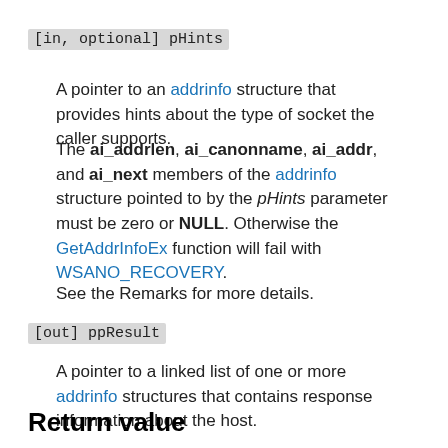[in, optional] pHints
A pointer to an addrinfo structure that provides hints about the type of socket the caller supports.
The ai_addrlen, ai_canonname, ai_addr, and ai_next members of the addrinfo structure pointed to by the pHints parameter must be zero or NULL. Otherwise the GetAddrInfoEx function will fail with WSANO_RECOVERY.
See the Remarks for more details.
[out] ppResult
A pointer to a linked list of one or more addrinfo structures that contains response information about the host.
Return value